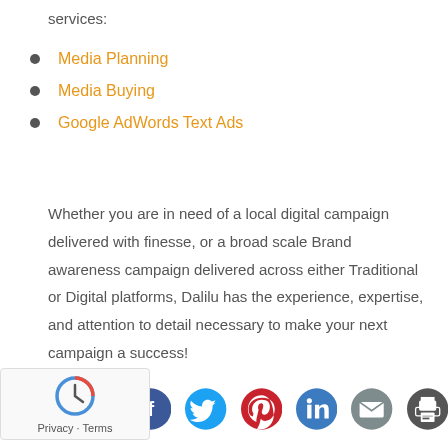services:
Media Planning
Media Buying
Google AdWords Text Ads
Whether you are in need of a local digital campaign delivered with finesse, or a broad scale Brand awareness campaign delivered across either Traditional or Digital platforms, Dalilu has the experience, expertise, and attention to detail necessary to make your next campaign a success!
[Figure (other): reCAPTCHA widget with Privacy and Terms links]
[Figure (other): Social media share icons row: Facebook, Twitter, Pinterest, LinkedIn, Email, Print]